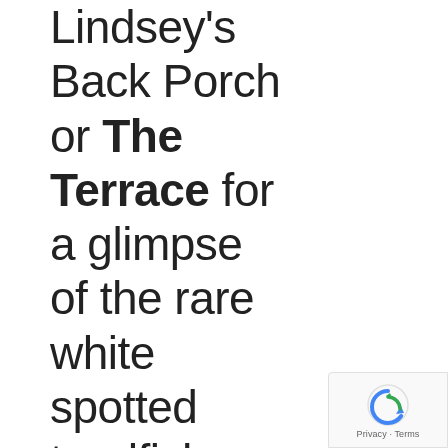Lindsey's Back Porch or The Terrace for a glimpse of the rare white spotted toadfish. You could easily spend a week here, but for now, we have to
[Figure (logo): Google reCAPTCHA badge with circular arrow icon and Privacy - Terms text]